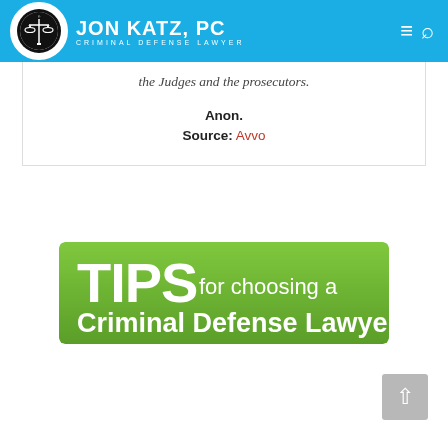Jon Katz, PC — Criminal Defense Lawyer
the Judges and the prosecutors.
Anon.
Source: Avvo
[Figure (illustration): Green banner graphic reading 'TIPS for choosing a Criminal Defense Lawyer']